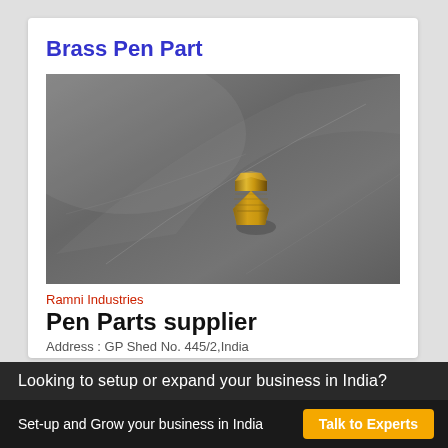Brass Pen Part
[Figure (photo): Photo of a small brass pen part (threaded nozzle/tip) on a grey metallic surface]
Ramni Industries
Pen Parts supplier
Address : GP Shed No. 445/2,India
Looking to setup or expand your business in India?
Set-up and Grow your business in India   Talk to Experts